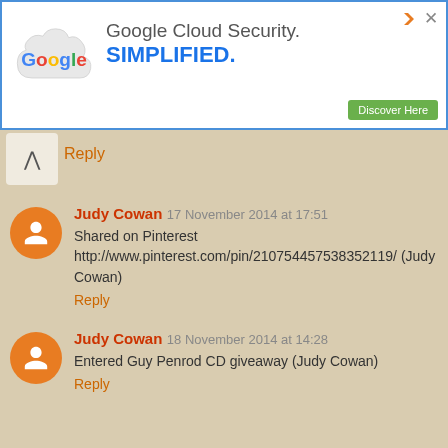[Figure (screenshot): Google Cloud Security advertisement banner with Google logo on cloud shape, text 'Google Cloud Security. SIMPLIFIED.' and a green 'Discover Here' button]
Reply
Judy Cowan  17 November 2014 at 17:51
Shared on Pinterest http://www.pinterest.com/pin/210754457538352119/ (Judy Cowan)
Reply
Judy Cowan  18 November 2014 at 14:28
Entered Guy Penrod CD giveaway (Judy Cowan)
Reply
Becky Dempsey  18 November 2014 at 15:28
I like the Little People Nativity set.